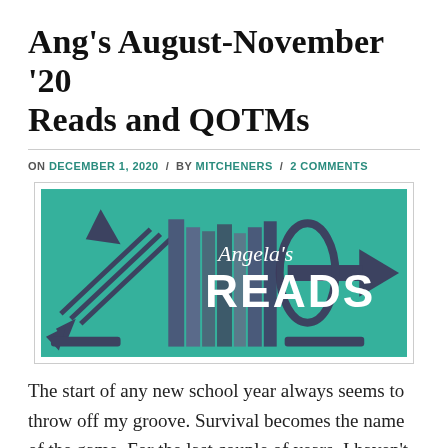Ang's August-November '20 Reads and QOTMs
ON DECEMBER 1, 2020 / BY MITCHENERS / 2 COMMENTS
[Figure (illustration): Angela's Reads banner image showing books between arrow-shaped bookends on a teal/green background with the text 'Angela's READS']
The start of any new school year always seems to throw off my groove. Survival becomes the name of the game. For the last couple of years, I haven't found a satisfying...